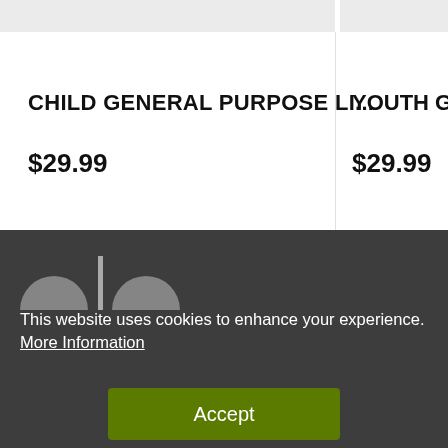CHILD GENERAL PURPOSE LI...
$29.99
YOUTH GE...
$29.99
[Figure (other): Partial logo visible in dark footer area, showing two rounded arch shapes with a vertical divider]
This website uses cookies to enhance your experience. More Information
Accept